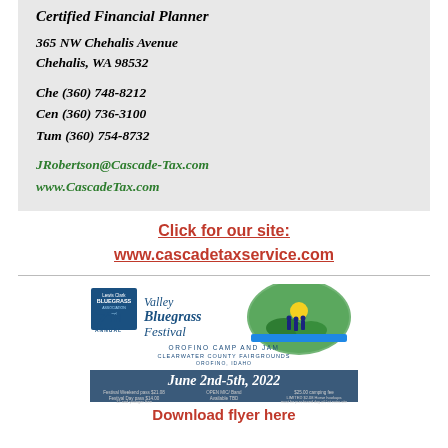Certified Financial Planner
365 NW Chehalis Avenue
Chehalis, WA 98532
Che (360) 748-8212
Cen (360) 736-3100
Tum (360) 754-8732
JRobertson@Cascade-Tax.com
www.CascadeTax.com
Click for our site:
www.cascadetaxservice.com
[Figure (infographic): Valley Bluegrass Festival - 7th Annual Lewis Clark Bluegrass Association event, Pickin on the Clearwater, Orofino Camp and Jam, Clearwater County Fairgrounds, Orofino Idaho. Banner: June 2nd-5th, 2022 with festival details.]
Download flyer here